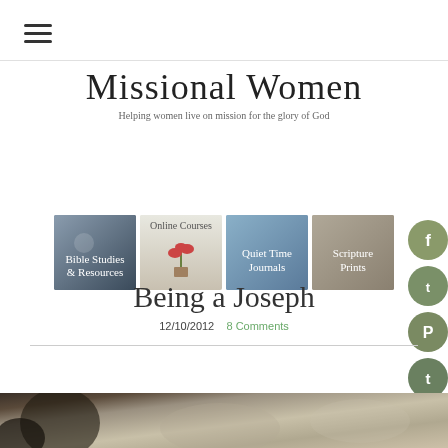[Figure (logo): Hamburger menu icon (three horizontal lines)]
[Figure (logo): Missional Women logo with tagline: Helping women live on mission for the glory of God, with four navigation images: Bible Studies & Resources, Online Courses, Quiet Time Journals, Scripture Prints]
[Figure (infographic): Social media icons on right side: Facebook, Twitter, Pinterest, Tumblr — olive green circular buttons]
Being a Joseph
12/10/2012   8 Comments
[Figure (photo): Partial bottom image strip showing nature/foliage scene]